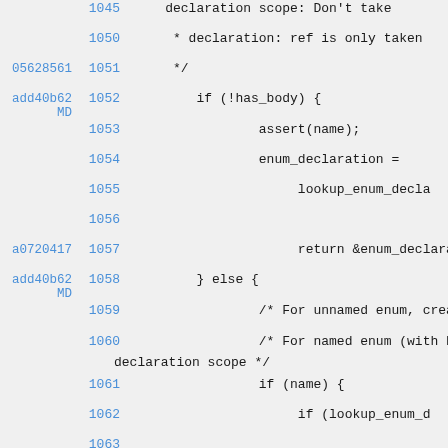Source code viewer showing lines 1045-1063 of a C source file with git blame annotations
1045: declaration scope: Don't take...
1050:  * declaration: ref is only taken
05628561 1051:  */
add40b62 MD 1052: if (!has_body) {
1053:         assert(name);
1054:         enum_declaration =
1055:              lookup_enum_decla
1056:
a0720417 1057:              return &enum_declaration-
add40b62 MD 1058: } else {
1059:              /* For unnamed enum, crea
1060:              /* For named enum (with b    declaration scope */
1061:              if (name) {
1062:                   if (lookup_enum_d
1063: